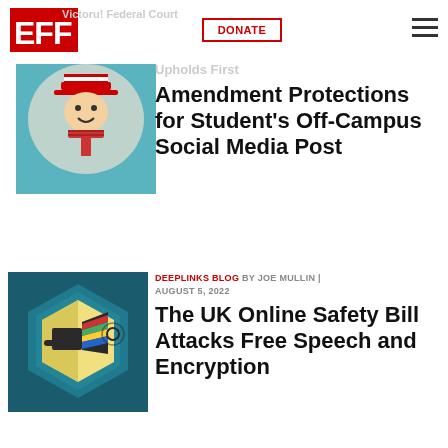EFF | DONATE | menu
[Figure (illustration): EFF logo in red with stylized figure, and article thumbnail showing cartoon character with striped hat on teal background]
Victoru! Federal Court Upholds First Amendment Protections for Student's Off-Campus Social Media Post
[Figure (illustration): Article thumbnail showing a megaphone icon on dark teal hexagonal background]
DEEPLINKS BLOG BY JOE MULLIN | AUGUST 5, 2022
The UK Online Safety Bill Attacks Free Speech and Encryption